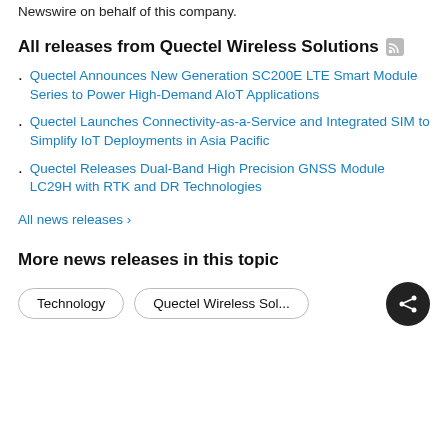Newswire on behalf of this company.
All releases from Quectel Wireless Solutions
Quectel Announces New Generation SC200E LTE Smart Module Series to Power High-Demand AIoT Applications
Quectel Launches Connectivity-as-a-Service and Integrated SIM to Simplify IoT Deployments in Asia Pacific
Quectel Releases Dual-Band High Precision GNSS Module LC29H with RTK and DR Technologies
All news releases ›
More news releases in this topic
Technology   Quectel Wireless Sol...